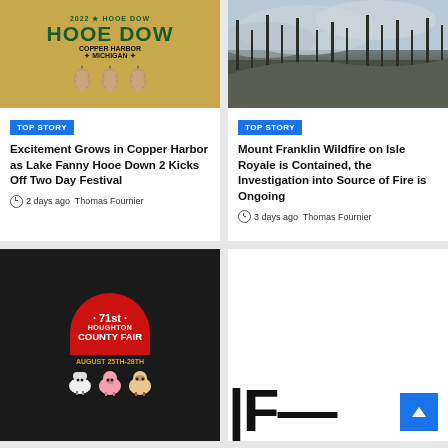[Figure (illustration): Hooe Down 2022 festival poster with Copper Harbor Michigan text and pine cone decorations on golden background]
[Figure (photo): Wildfire scene on Isle Royale showing burned forest with smoke and charred trees on a hillside]
TOP STORY
Excitement Grows in Copper Harbor as Lake Fanny Hooe Down 2 Kicks Off Two Day Festival
2 days ago  Thomas Fournier
TOP STORY
Mount Franklin Wildfire on Isle Royale is Contained, the Investigation into Source of Fire is Ongoing
3 days ago  Thomas Fournier
[Figure (illustration): 71st Houghton County Fair poster with red barn arch, August 25th-28th dates, and cartoon farm animal characters]
[Figure (other): Partially visible card with back-to-top blue button and large black letters at bottom]